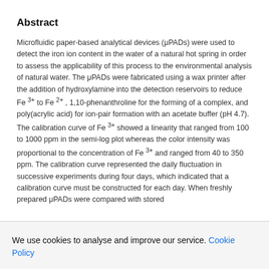Abstract
Microfluidic paper-based analytical devices (μPADs) were used to detect the iron ion content in the water of a natural hot spring in order to assess the applicability of this process to the environmental analysis of natural water. The μPADs were fabricated using a wax printer after the addition of hydroxylamine into the detection reservoirs to reduce Fe 3+ to Fe 2+ , 1,10-phenanthroline for the forming of a complex, and poly(acrylic acid) for ion-pair formation with an acetate buffer (pH 4.7). The calibration curve of Fe 3+ showed a linearity that ranged from 100 to 1000 ppm in the semi-log plot whereas the color intensity was proportional to the concentration of Fe 3+ and ranged from 40 to 350 ppm. The calibration curve represented the daily fluctuation in successive experiments during four days, which indicated that a calibration curve must be constructed for each day. When freshly prepared μPADs were compared with stored
We use cookies to analyse and improve our service. Cookie Policy